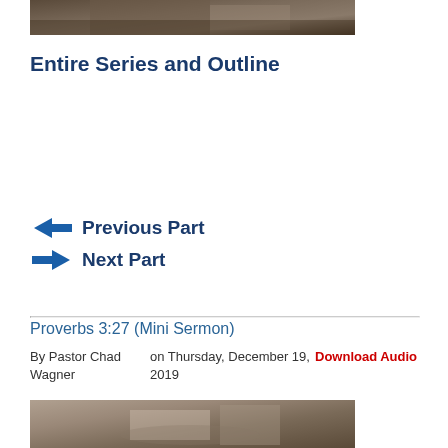[Figure (photo): Top portion of a photo showing a Bible or book on a wooden surface (cropped)]
Entire Series and Outline
Previous Part
Next Part
Proverbs 3:27 (Mini Sermon)
By Pastor Chad Wagner   on Thursday, December 19, 2019   Download Audio
[Figure (photo): Bottom portion of a photo showing a Bible or book (cropped, partial view)]